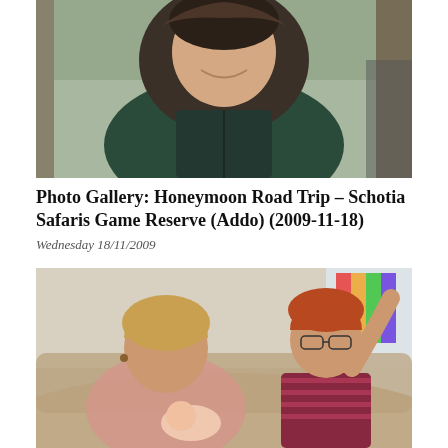[Figure (photo): A smiling woman wearing a dark green hooded fur-trimmed jacket, sitting outdoors on what appears to be a porch or outdoor seating area with wooden posts visible in the background.]
Photo Gallery: Honeymoon Road Trip – Schotia Safaris Game Reserve (Addo) (2009-11-18)
Wednesday 18/11/2009
[Figure (photo): A woman with short hair holding a newborn baby, sitting on a sofa. In the background a man with glasses wearing a striped shirt is sitting on a couch, smiling. A colorful banner or decoration is visible on the wall behind him.]